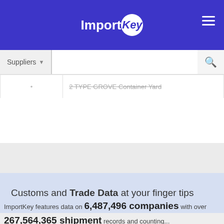ImportKey
|  | 2 TYPE GROVE Container Yard |
Customs and Trade Data at your finger tips
ImportKey features data on 6,487,496 companies with over 267,564,365 shipment records and counting...